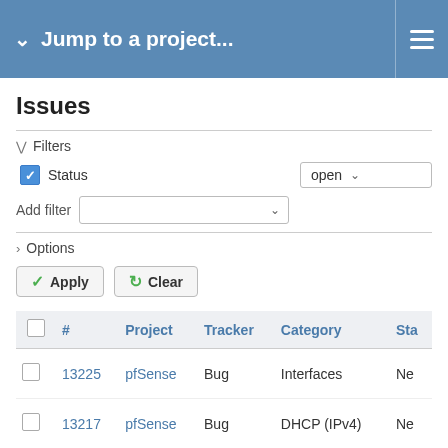Jump to a project...
Issues
Filters
Status  open
Add filter
Options
Apply  Clear
|  | # | Project | Tracker | Category | Sta |
| --- | --- | --- | --- | --- | --- |
|  | 13225 | pfSense | Bug | Interfaces | Ne |
|  | 13217 | pfSense | Bug | DHCP (IPv4) | Ne |